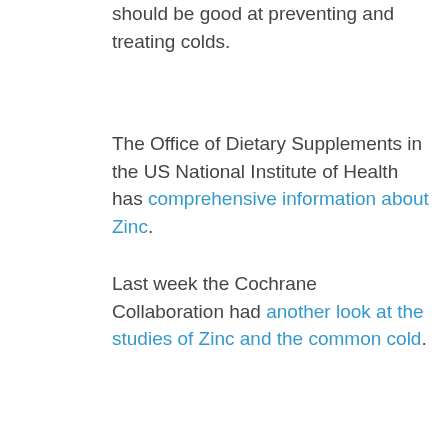should be good at preventing and treating colds.
The Office of Dietary Supplements in the US National Institute of Health has comprehensive information about Zinc.
Last week the Cochrane Collaboration had another look at the studies of Zinc and the common cold.
We found that zinc (lozenges or syrup) is beneficial in reducing the duration and severity of the common cold in healthy people, when taken within 24 hours of onset of symptoms. People taking zinc are